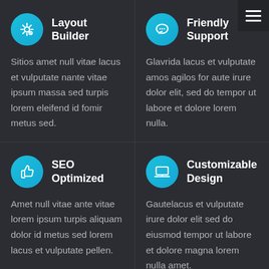Layout Builder
Sitios amet null vitae lacus et vulputate nante vitae ipsum massa sed turpis lorem eleifend id fomir metus sed.
Friendly Support
Glavrida lacus et vulputate amos agilos for aute irure dolor elit, sed do tempor ut labore et dolore lorem nulla.
SEO Optimized
Amet null vitae ante vitae lorem ipsum turpis aliquam dolor id metus sed lorem lacus et vulputate pellen.
Customizable Design
Gautelacus et vulputate irure dolor elit sed do eiusmod tempor ut labore et dolore magna lorem nulla amet.